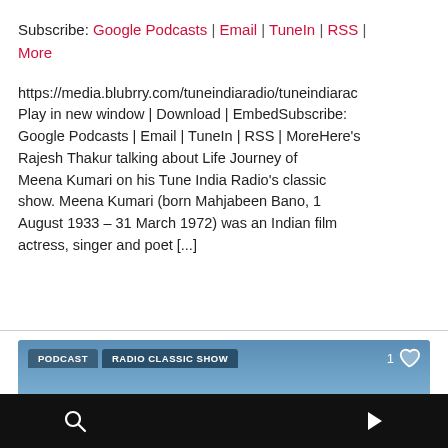Subscribe: Google Podcasts | Email | TuneIn | RSS | More
https://media.blubrry.com/tuneindiaradio/tuneindiaradio... Play in new window | Download | EmbedSubscribe: Google Podcasts | Email | TuneIn | RSS | MoreHere's Rajesh Thakur talking about Life Journey of Meena Kumari on his Tune India Radio's classic show. Meena Kumari (born Mahjabeen Bano, 1 August 1933 – 31 March 1972) was an Indian film actress, singer and poet [...]
[Figure (screenshot): Podcast card with sky/clouds background showing tabs PODCAST and RADIO CLASSIC SHOW, with a heart/like icon showing count 1]